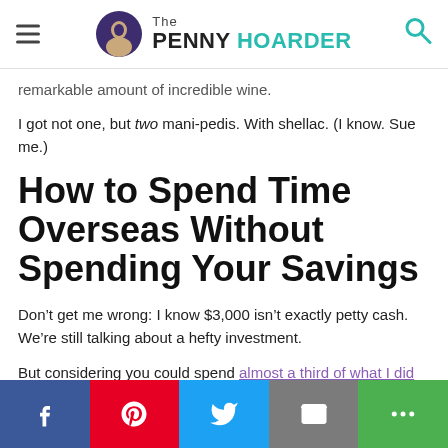The PENNY HOARDER
remarkable amount of incredible wine.
I got not one, but two mani-pedis. With shellac. (I know. Sue me.)
How to Spend Time Overseas Without Spending Your Savings
Don’t get me wrong: I know $3,000 isn’t exactly petty cash. We’re still talking about a hefty investment.
But considering you could spend almost a third of what I did for a vacation package of just six nights – and not